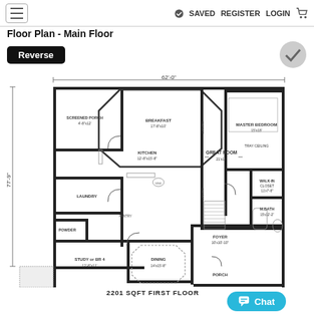≡  ✓ SAVED  REGISTER  LOGIN  🛒
Floor Plan - Main Floor
Reverse
[Figure (engineering-diagram): Main floor architectural floor plan showing: Screened Porch (4'-8"x12'), Breakfast (17'-8"x10'), Kitchen (12'-8"x15'-8"), Great Room (21'x18'), Master Bedroom (15'x18', tray ceiling), Laundry, Powder, Study or BR 4 (12'-8"x11'+), Dining (14'x15'-8"), Foyer (10'x10'-10"), Porch, Walk-In Closet (11'x7'-8"), M.Bath (15'x12'-2"). Overall dimensions 62'-0" wide x 77'-9" tall. 2201 SQFT FIRST FLOOR.]
2201 SQFT FIRST FLOOR